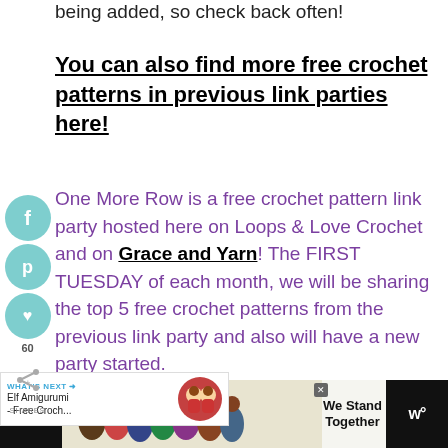being added, so check back often!
You can also find more free crochet patterns in previous link parties here!
One More Row is a free crochet pattern link party hosted here on Loops & Love Crochet and on Grace and Yarn! The FIRST TUESDAY of each month, we will be sharing the top 5 free crochet patterns from the previous link party and also will have a new party started.
What is a Link Party?
[Figure (screenshot): Advertisement banner at the bottom: dark sidebar with 'E' label, center with group of people photo and 'We Stand Together' text, right dark panel with 'w°' icon. Also a 'WHAT'S NEXT' widget showing 'Elf Amigurumi - Free Croch...' with circular thumbnail.]